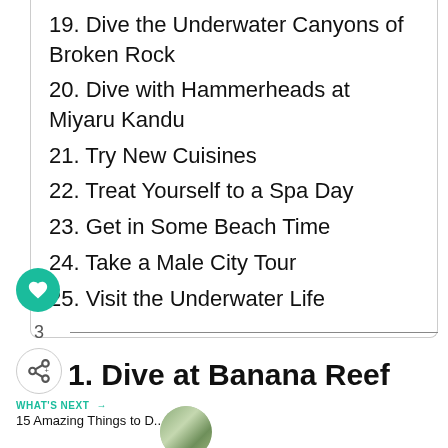19. Dive the Underwater Canyons of Broken Rock
20. Dive with Hammerheads at Miyaru Kandu
21. Try New Cuisines
22. Treat Yourself to a Spa Day
23. Get in Some Beach Time
24. Take a Male City Tour
25. Visit the Underwater Life
1. Dive at Banana Reef
WHAT'S NEXT → 15 Amazing Things to D...